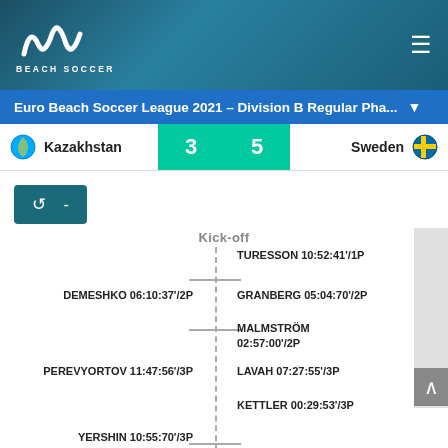Beach Soccer
Euro Beach Soccer League 2021 – Division B Regular Pha...
| Team | Score | Team |
| --- | --- | --- |
| Kazakhstan | 3 | 5 | Sweden |
- (replay button)
Kick-off
TURESSON 10:52:41'/1P
DEMESHKO 06:10:37'/2P
GRANBERG 05:04:70'/2P
MALMSTRÖM 02:57:00'/2P
PEREVYORTOV 11:47:56'/3P
LAVAH 07:27:55'/3P
KETTLER 00:29:53'/3P
YERSHIN 10:55:70'/3P